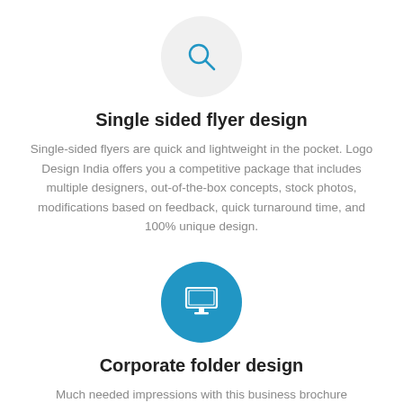[Figure (illustration): Light gray circle with a blue search/magnifying glass icon]
Single sided flyer design
Single-sided flyers are quick and lightweight in the pocket. Logo Design India offers you a competitive package that includes multiple designers, out-of-the-box concepts, stock photos, modifications based on feedback, quick turnaround time, and 100% unique design.
[Figure (illustration): Blue circle with a white monitor/desktop computer icon]
Corporate folder design
Much needed impressions with this business brochure